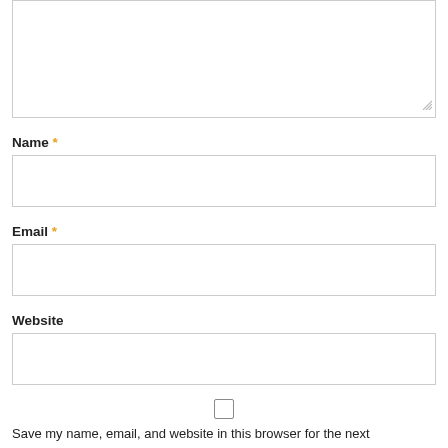[Figure (screenshot): Textarea input box for comment, with resize handle at bottom-right]
Name *
[Figure (screenshot): Name text input field, empty]
Email *
[Figure (screenshot): Email text input field, empty]
Website
[Figure (screenshot): Website text input field, empty]
[Figure (screenshot): Checkbox, unchecked]
Save my name, email, and website in this browser for the next